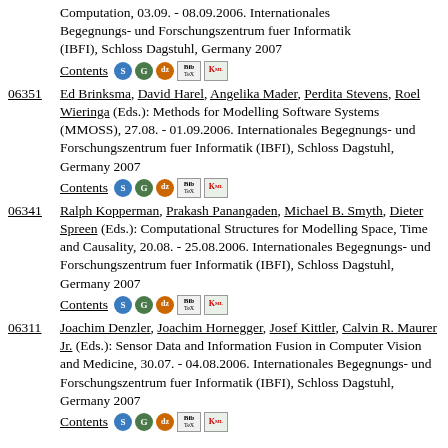Computation, 03.09. - 08.09.2006. Internationales Begegnungs- und Forschungszentrum fuer Informatik (IBFI), Schloss Dagstuhl, Germany 2007 Contents
06351 Ed Brinksma, David Harel, Angelika Mader, Perdita Stevens, Roel Wieringa (Eds.): Methods for Modelling Software Systems (MMOSS), 27.08. - 01.09.2006. Internationales Begegnungs- und Forschungszentrum fuer Informatik (IBFI), Schloss Dagstuhl, Germany 2007 Contents
06341 Ralph Kopperman, Prakash Panangaden, Michael B. Smyth, Dieter Spreen (Eds.): Computational Structures for Modelling Space, Time and Causality, 20.08. - 25.08.2006. Internationales Begegnungs- und Forschungszentrum fuer Informatik (IBFI), Schloss Dagstuhl, Germany 2007 Contents
06311 Joachim Denzler, Joachim Hornegger, Josef Kittler, Calvin R. Maurer Jr. (Eds.): Sensor Data and Information Fusion in Computer Vision and Medicine, 30.07. - 04.08.2006. Internationales Begegnungs- und Forschungszentrum fuer Informatik (IBFI), Schloss Dagstuhl, Germany 2007 Contents